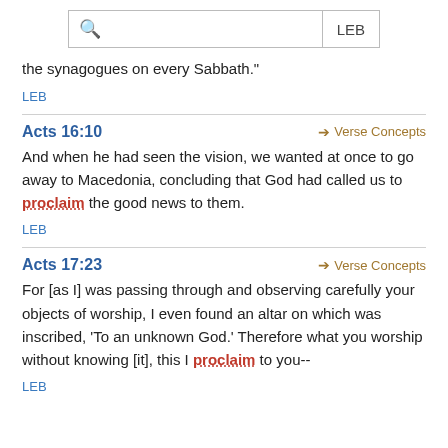Search LEB
the synagogues on every Sabbath."
LEB
Acts 16:10
And when he had seen the vision, we wanted at once to go away to Macedonia, concluding that God had called us to proclaim the good news to them.
LEB
Acts 17:23
For [as I] was passing through and observing carefully your objects of worship, I even found an altar on which was inscribed, 'To an unknown God.' Therefore what you worship without knowing [it], this I proclaim to you--
LEB